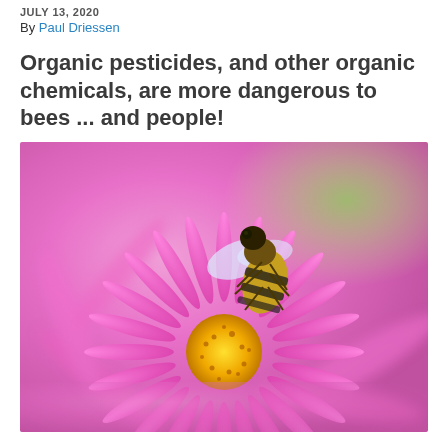JULY 13, 2020
By Paul Driessen
Organic pesticides, and other organic chemicals, are more dangerous to bees ... and people!
[Figure (photo): Close-up macro photograph of a honey bee perched on a bright pink aster flower with a yellow center, against a blurred pink and green background.]